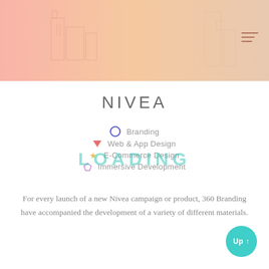[Figure (illustration): Hero banner image with pink-to-peach gradient background showing faint architectural/building sketches and a hamburger menu icon in the top-right corner]
NIVEA
Branding
Web & App Design
E-Commerce Design
Immersive Development
For every launch of a new Nivea campaign or product, 360 Branding have accompanied the development of a variety of different materials.